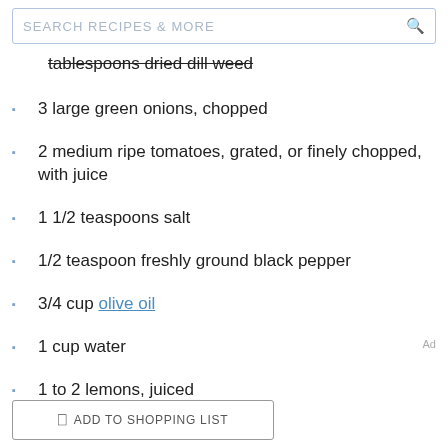SEARCH RECIPES & MORE
tablespoons dried dill weed
3 large green onions, chopped
2 medium ripe tomatoes, grated, or finely chopped, with juice
1 1/2 teaspoons salt
1/2 teaspoon freshly ground black pepper
3/4 cup olive oil
1 cup water
1 to 2 lemons, juiced
ADD TO SHOPPING LIST